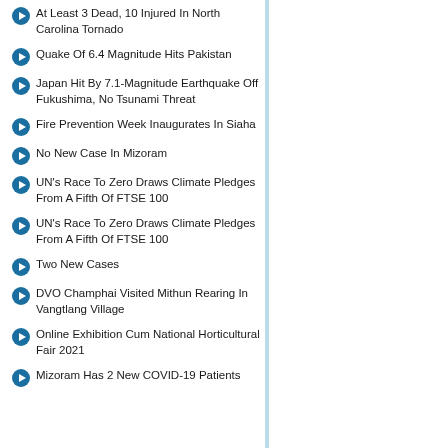At Least 3 Dead, 10 Injured In North Carolina Tornado
Quake Of 6.4 Magnitude Hits Pakistan
Japan Hit By 7.1-Magnitude Earthquake Off Fukushima, No Tsunami Threat
Fire Prevention Week Inaugurates In Siaha
No New Case In Mizoram
UN's Race To Zero Draws Climate Pledges From A Fifth Of FTSE 100
UN's Race To Zero Draws Climate Pledges From A Fifth Of FTSE 100
Two New Cases
DVO Champhai Visited Mithun Rearing In Vangtlang Village
Online Exhibition Cum National Horticultural Fair 2021
Mizoram Has 2 New COVID-19 Patients